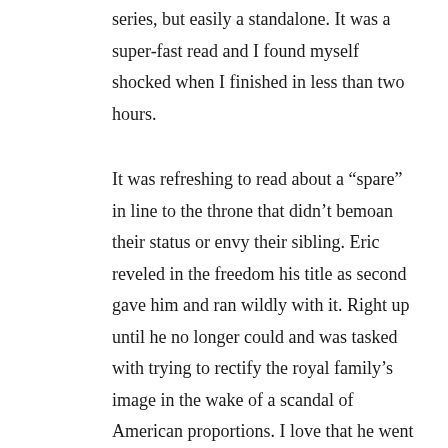series, but easily a standalone. It was a super-fast read and I found myself shocked when I finished in less than two hours.
It was refreshing to read about a “spare” in line to the throne that didn’t bemoan their status or envy their sibling. Eric reveled in the freedom his title as second gave him and ran wildly with it. Right up until he no longer could and was tasked with trying to rectify the royal family’s image in the wake of a scandal of American proportions. I love that he went about this, not just by doing charity work or getting his face in the spotlight for donating boatloads of cash to some deserving, albeit politically correct organization, but by creating a healthcare bill that would impact the entire population. Enter Anna and her amazing research that has the potential to cure a common form of breast cancer and save